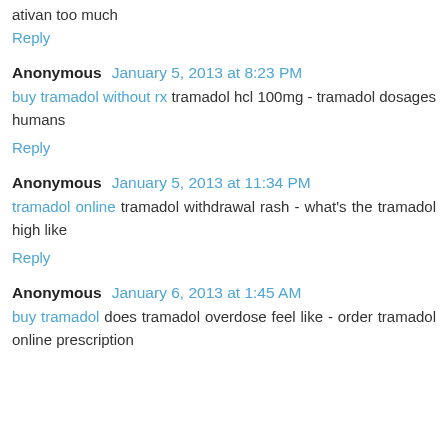ativan too much
Reply
Anonymous January 5, 2013 at 8:23 PM
buy tramadol without rx tramadol hcl 100mg - tramadol dosages humans
Reply
Anonymous January 5, 2013 at 11:34 PM
tramadol online tramadol withdrawal rash - what's the tramadol high like
Reply
Anonymous January 6, 2013 at 1:45 AM
buy tramadol does tramadol overdose feel like - order tramadol online prescription